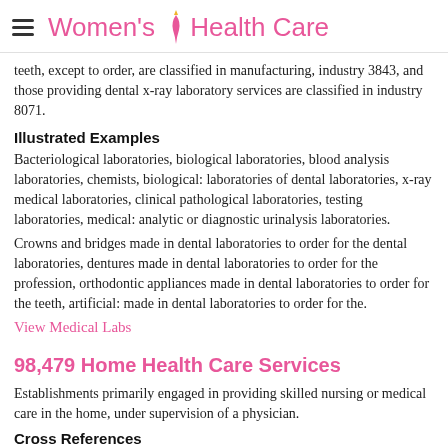Women's Health Care
teeth, except to order, are classified in manufacturing, industry 3843, and those providing dental x-ray laboratory services are classified in industry 8071.
Illustrated Examples
Bacteriological laboratories, biological laboratories, blood analysis laboratories, chemists, biological: laboratories of dental laboratories, x-ray medical laboratories, clinical pathological laboratories, testing laboratories, medical: analytic or diagnostic urinalysis laboratories.
Crowns and bridges made in dental laboratories to order for the dental laboratories, dentures made in dental laboratories to order for the profession, orthodontic appliances made in dental laboratories to order for the teeth, artificial: made in dental laboratories to order for the.
View Medical Labs
98,479 Home Health Care Services
Establishments primarily engaged in providing skilled nursing or medical care in the home, under supervision of a physician.
Cross References